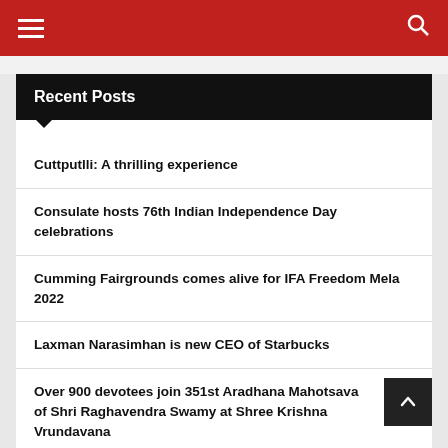Navigation bar with hamburger menu and search icon
Recent Posts
Cuttputlli: A thrilling experience
Consulate hosts 76th Indian Independence Day celebrations
Cumming Fairgrounds comes alive for IFA Freedom Mela 2022
Laxman Narasimhan is new CEO of Starbucks
Over 900 devotees join 351st Aradhana Mahotsava of Shri Raghavendra Swamy at Shree Krishna Vrundavana